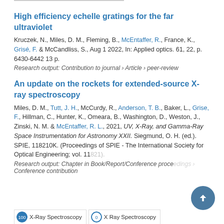High efficiency echelle gratings for the far ultraviolet
Kruczek, N., Miles, D. M., Fleming, B., McEntaffer, R., France, K., Grisé, F. & McCandliss, S., Aug 1 2022, In: Applied optics. 61, 22, p. 6430-6442 13 p.
Research output: Contribution to journal › Article › peer-review
An update on the rockets for extended-source X-ray spectroscopy
Miles, D. M., Tutt, J. H., McCurdy, R., Anderson, T. B., Baker, L., Grise, F., Hillman, C., Hunter, K., Omeara, B., Washington, D., Weston, J., Zinski, N. M. & McEntaffer, R. L., 2021, UV, X-Ray, and Gamma-Ray Space Instrumentation for Astronomy XXII. Siegmund, O. H. (ed.). SPIE, 118210K. (Proceedings of SPIE - The International Society for Optical Engineering; vol. 11821)
Research output: Chapter in Book/Report/Conference proceedings › Conference contribution
X-Ray Spectroscopy   X Ray Spectroscopy